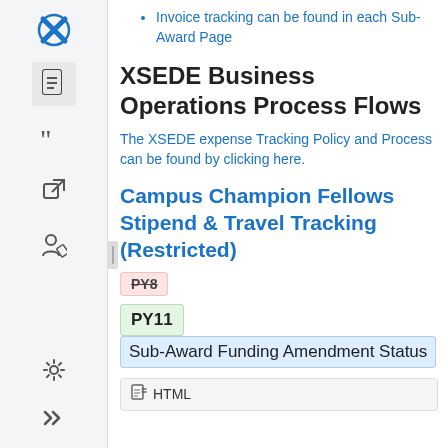Invoice tracking can be found in each Sub-Award Page
XSEDE Business Operations Process Flows
The XSEDE expense Tracking Policy and Process can be found by clicking here.
Campus Champion Fellows Stipend & Travel Tracking (Restricted)
PY8 (strikethrough badge)
PY11  Sub-Award Funding Amendment Status
HTML